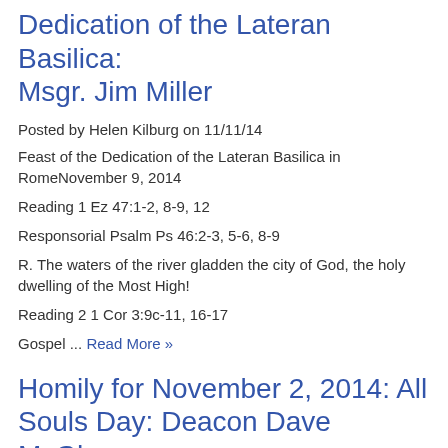Dedication of the Lateran Basilica: Msgr. Jim Miller
Posted by Helen Kilburg on 11/11/14
Feast of the Dedication of the Lateran Basilica in RomeNovember 9, 2014
Reading 1 Ez 47:1-2, 8-9, 12
Responsorial Psalm Ps 46:2-3, 5-6, 8-9
R. The waters of the river gladden the city of God, the holy dwelling of the Most High!
Reading 2 1 Cor 3:9c-11, 16-17
Gospel ... Read More »
Homily for November 2, 2014: All Souls Day: Deacon Dave McGhee